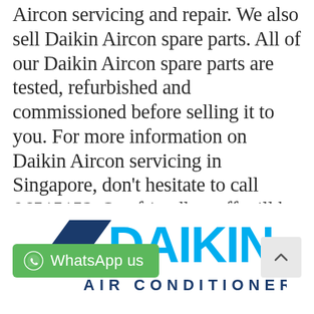Aircon servicing and repair. We also sell Daikin Aircon spare parts. All of our Daikin Aircon spare parts are tested, refurbished and commissioned before selling it to you. For more information on Daikin Aircon servicing in Singapore, don't hesitate to call 96515152. Our friendly staff will be available to schedule an appointment for you.
[Figure (logo): Daikin Air Conditioners logo with dark blue and cyan text on white background]